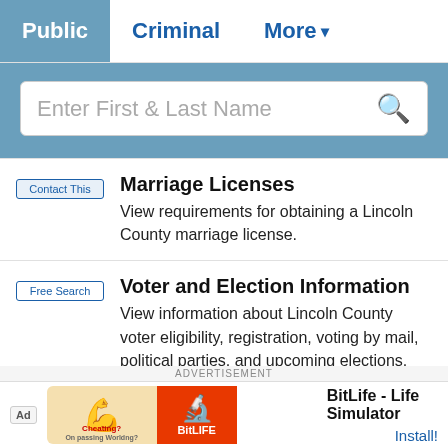Public | Criminal | More
[Figure (screenshot): Search bar with placeholder text 'Enter First & Last Name' and a search icon]
Marriage Licenses
View requirements for obtaining a Lincoln County marriage license.
Voter and Election Information
View information about Lincoln County voter eligibility, registration, voting by mail, political parties, and upcoming elections.
Agendas and Minutes
View current Lincoln County Commission...
[Figure (screenshot): Ad banner: BitLife - Life Simulator with Install button]